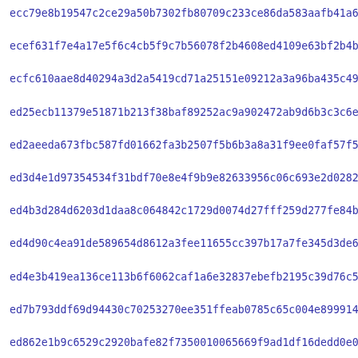ecc79e8b19547c2ce29a50b7302fb80709c233ce86da583aafb41a6698f61
ecef631f7e4a17e5f6c4cb5f9c7b56078f2b4608ed4109e63bf2b4bb281e1
ecfc610aae8d40294a3d2a5419cd71a25151e09212a3a96ba435c49e1d3ad
ed25ecb11379e51871b213f38baf89252ac9a902472ab9d6b3c3c6e52e6a5
ed2aeeda673fbc587fd01662fa3b2507f5b6b3a8a31f9ee0faf57f589f775
ed3d4e1d97354534f31bdf70e8e4f9b9e82633956c06c693e2d02826a7add
ed4b3d284d6203d1daa8c064842c1729d0074d27fff259d277fe84b99fde6
ed4d90c4ea91de589654d8612a3fee11655cc397b17a7fe345d3de68bb8ee
ed4e3b419ea136ce113b6f6062caf1a6e32837ebefb2195c39d76c5869339
ed7b793ddf69d94430c70253270ee351ffeab0785c65c004e899914345d0d
ed862e1b9c6529c2920bafe82f7350010065669f9ad1df16dedd0e0411228